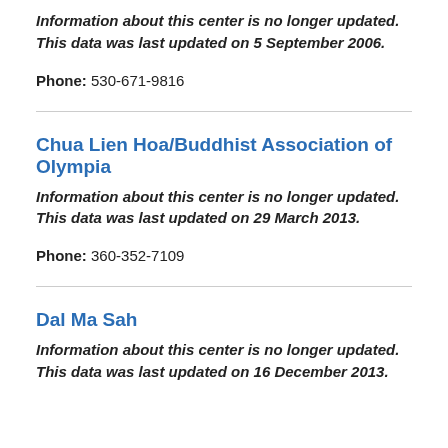Information about this center is no longer updated. This data was last updated on 5 September 2006.
Phone: 530-671-9816
Chua Lien Hoa/Buddhist Association of Olympia
Information about this center is no longer updated. This data was last updated on 29 March 2013.
Phone: 360-352-7109
Dal Ma Sah
Information about this center is no longer updated. This data was last updated on 16 December 2013.